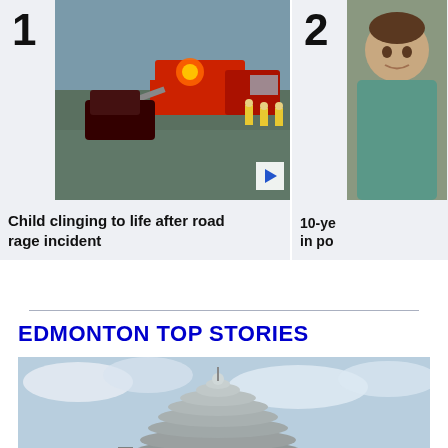1
[Figure (photo): Road rage incident scene with tow truck, emergency lights, and firefighters on a highway]
Child clinging to life after road rage incident
2
[Figure (photo): A child, appears to be around 10 years old, in a photo]
10-year... in po...
EDMONTON TOP STORIES
[Figure (photo): Modern futuristic building with layered metallic exterior under a cloudy sky]